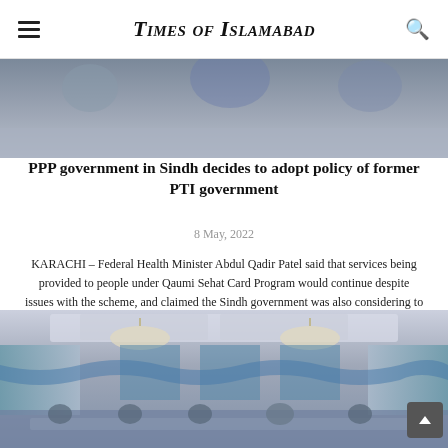Times of Islamabad
[Figure (photo): Close-up photo of people at a meeting, partially visible at top of page]
PPP government in Sindh decides to adopt policy of former PTI government
8 May, 2022
KARACHI – Federal Health Minister Abdul Qadir Patel said that services being provided to people under Qaumi Sehat Card Program would continue despite issues with the scheme, and claimed the Sindh government was also considering to launch its own health insurance scheme for the people ...
[Figure (photo): Photo of a formal meeting in a grand hall with chandeliers, blue and gold curtains, and attendees seated at tables]